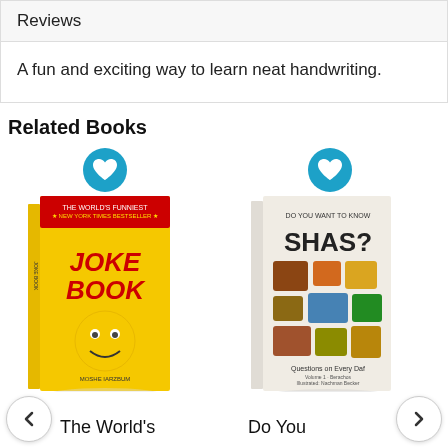Reviews
A fun and exciting way to learn neat handwriting.
Related Books
[Figure (photo): Book cover of The World's Funniest Joke Book with yellow cover and cartoon face, with blue heart icon above]
[Figure (photo): Book cover of Do You Want to Know Shas? with white cover showing various objects, with blue heart icon above]
The World's
Do You